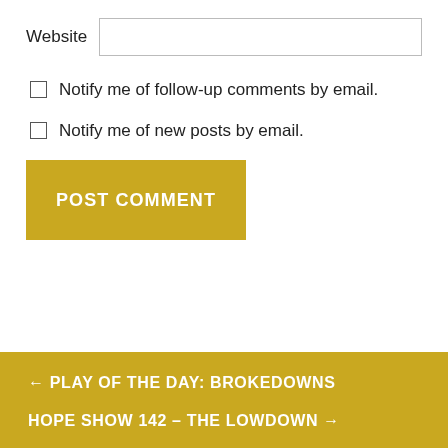Website
Notify me of follow-up comments by email.
Notify me of new posts by email.
POST COMMENT
← PLAY OF THE DAY: BROKEDOWNS
HOPE SHOW 142 – THE LOWDOWN →